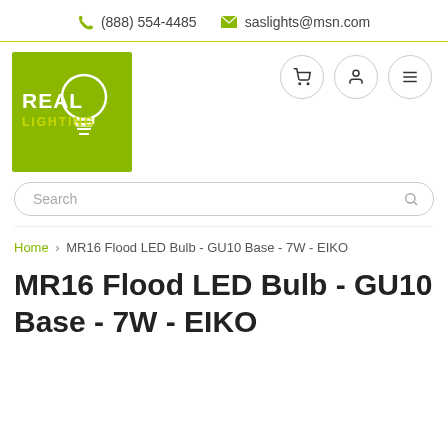(888) 554-4485   saslights@msn.com
[Figure (logo): Real Lighting logo — green square with white light bulb outline, white text 'REAL' and yellow-green text 'LIGHTING']
Search
Home › MR16 Flood LED Bulb - GU10 Base - 7W - EIKO
MR16 Flood LED Bulb - GU10 Base - 7W - EIKO